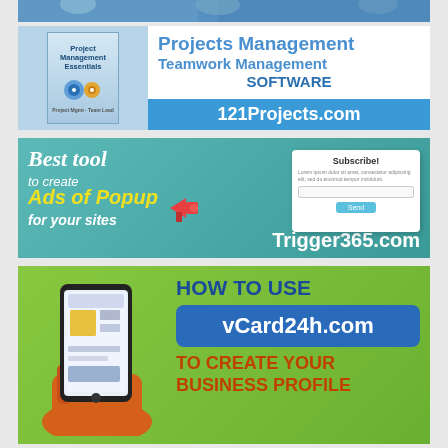[Figure (photo): Partial banner at top, cut off, showing people/background]
[Figure (infographic): Project Management Essentials book ad with 121Projects.com - Projects Management, Teamwork Management Software]
[Figure (infographic): Trigger365.com ad - Best tool to create Ads of Popup for your sites, teal background with popup subscribe box illustration]
[Figure (infographic): vCard24h.com ad - How to use vCard24h.com to create your business profile, green background with phone illustration]